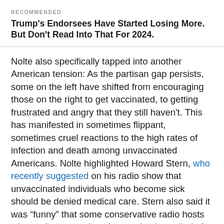RECOMMENDED
Trump's Endorsees Have Started Losing More. But Don't Read Into That For 2024.
Nolte also specifically tapped into another American tension: As the partisan gap persists, some on the left have shifted from encouraging those on the right to get vaccinated, to getting frustrated and angry that they still haven't. This has manifested in sometimes flippant, sometimes cruel reactions to the high rates of infection and death among unvaccinated Americans. Nolte highlighted Howard Stern, who recently suggested on his radio show that unvaccinated individuals who become sick should be denied medical care. Stern also said it was “funny” that some conservative radio hosts who spoke out against the vaccine later died of COVID-19. There’s also the r/HermanCainAward subreddit, named after the Republican politician who died of COVID-19 i